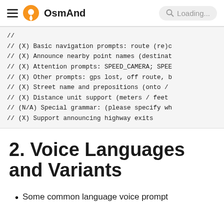OsmAnd  Loading...
//
// (X) Basic navigation prompts: route (re)c
// (X) Announce nearby point names (destinat
// (X) Attention prompts: SPEED_CAMERA; SPEE
// (X) Other prompts: gps lost, off route, b
// (X) Street name and prepositions (onto /
// (X) Distance unit support (meters / feet
// (N/A) Special grammar: (please specify wh
// (X) Support announcing highway exits
2. Voice Languages and Variants
Some common language voice prompt